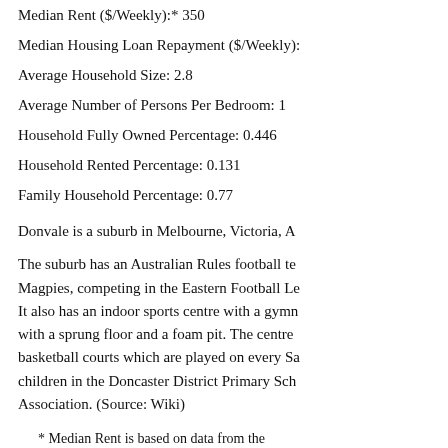Median Rent ($/Weekly):* 350
Median Housing Loan Repayment ($/Weekly):
Average Household Size: 2.8
Average Number of Persons Per Bedroom: 1
Household Fully Owned Percentage: 0.446
Household Rented Percentage: 0.131
Family Household Percentage: 0.77
Donvale is a suburb in Melbourne, Victoria, A
The suburb has an Australian Rules football te Magpies, competing in the Eastern Football Le It also has an indoor sports centre with a gymn with a sprung floor and a foam pit. The centre basketball courts which are played on every Sa children in the Doncaster District Primary Sch Association. (Source: Wiki)
* Median Rent is based on data from the Australian suburb survey.
** Disclaimer: While every care is taken